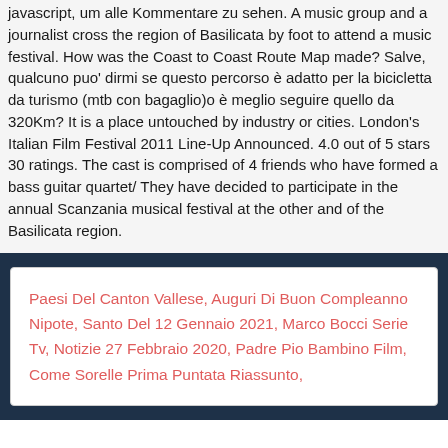javascript, um alle Kommentare zu sehen. A music group and a journalist cross the region of Basilicata by foot to attend a music festival. How was the Coast to Coast Route Map made? Salve, qualcuno puo' dirmi se questo percorso è adatto per la bicicletta da turismo (mtb con bagaglio)o è meglio seguire quello da 320Km? It is a place untouched by industry or cities. London's Italian Film Festival 2011 Line-Up Announced. 4.0 out of 5 stars 30 ratings. The cast is comprised of 4 friends who have formed a bass guitar quartet/ They have decided to participate in the annual Scanzania musical festival at the other and of the Basilicata region.
Paesi Del Canton Vallese, Auguri Di Buon Compleanno Nipote, Santo Del 12 Gennaio 2021, Marco Bocci Serie Tv, Notizie 27 Febbraio 2020, Padre Pio Bambino Film, Come Sorelle Prima Puntata Riassunto,